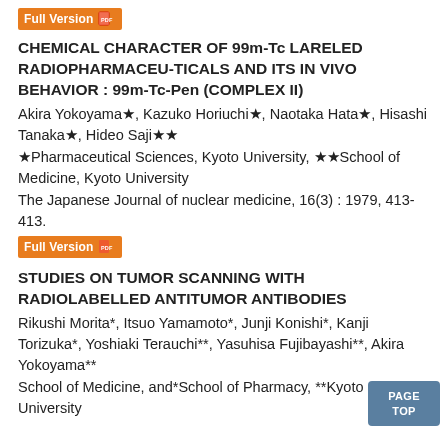[Figure (other): Full Version button with PDF icon]
CHEMICAL CHARACTER OF 99m-Tc LARELED RADIOPHARMACEU-TICALS AND ITS IN VIVO BEHAVIOR : 99m-Tc-Pen (COMPLEX II)
Akira Yokoyama★, Kazuko Horiuchi★, Naotaka Hata★, Hisashi Tanaka★, Hideo Saji★★
★Pharmaceutical Sciences, Kyoto University, ★★School of Medicine, Kyoto University
The Japanese Journal of nuclear medicine, 16(3) : 1979, 413-413.
[Figure (other): Full Version button with PDF icon]
STUDIES ON TUMOR SCANNING WITH RADIOLABELLED ANTITUMOR ANTIBODIES
Rikushi Morita*, Itsuo Yamamoto*, Junji Konishi*, Kanji Torizuka*, Yoshiaki Terauchi**, Yasuhisa Fujibayashi**, Akira Yokoyama**
School of Medicine, and*School of Pharmacy, **Kyoto University